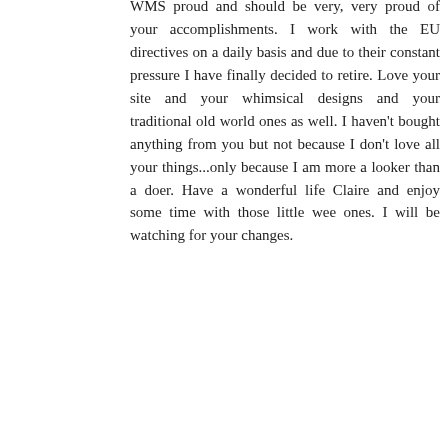WMS proud and should be very, very proud of your accomplishments. I work with the EU directives on a daily basis and due to their constant pressure I have finally decided to retire. Love your site and your whimsical designs and your traditional old world ones as well. I haven't bought anything from you but not because I don't love all your things...only because I am more a looker than a doer. Have a wonderful life Claire and enjoy some time with those little wee ones. I will be watching for your changes.
Reply
Katarina  23 February 2016 at 14:17
I am so sad to read this news. Although I have not stamped in a long time, I have kept your blog in my blog reader and admired the cards and beautiful new stamps you designed. I have sold off a lot of my collection but I still have every last WMS set and plan to keep them. Your designs are unique in the stamping world.
Thank you for years of inspiration and your lovely stories and photographs. I look forward to hearing more in the